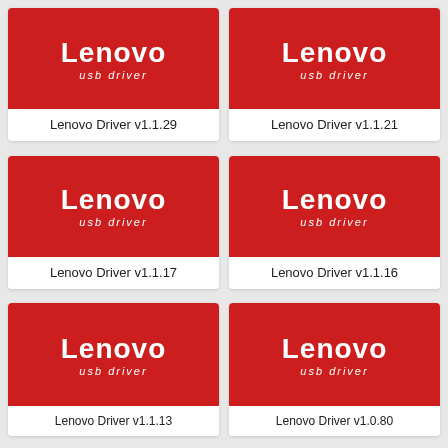[Figure (logo): Lenovo USB Driver logo on red background]
Lenovo Driver v1.1.29
[Figure (logo): Lenovo USB Driver logo on red background]
Lenovo Driver v1.1.21
[Figure (logo): Lenovo USB Driver logo on red background]
Lenovo Driver v1.1.17
[Figure (logo): Lenovo USB Driver logo on red background]
Lenovo Driver v1.1.16
[Figure (logo): Lenovo USB Driver logo on red background]
Lenovo Driver v1.1.13
[Figure (logo): Lenovo USB Driver logo on red background]
Lenovo Driver v1.0.80